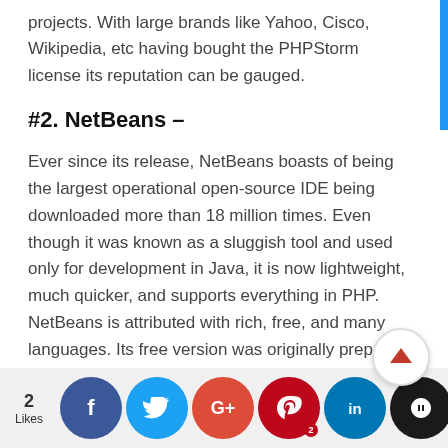projects. With large brands like Yahoo, Cisco, Wikipedia, etc having bought the PHPStorm license its reputation can be gauged.
#2. NetBeans –
Ever since its release, NetBeans boasts of being the largest operational open-source IDE being downloaded more than 18 million times. Even though it was known as a sluggish tool and used only for development in Java, it is now lightweight, much quicker, and supports everything in PHP. NetBeans is attributed with rich, free, and many languages. Its free version was originally prepared by Sun Microsystems in 2010 but now Oracle has taken over it. It supports PHP frameworks like Symfony2, Zend, Smarty Doctrine a... through Laravel supports WordPress, Yii, CakePHP, and HPs... Son... ne... ial... es... ep...
2 Likes | Facebook | Twitter | Google+ | Pinterest | LinkedIn | Klout